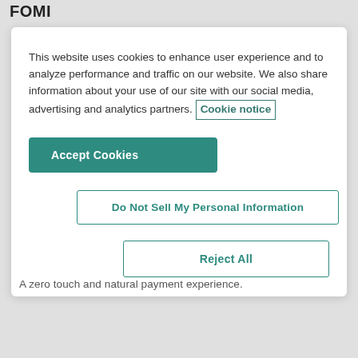FOMI
This website uses cookies to enhance user experience and to analyze performance and traffic on our website. We also share information about your use of our site with our social media, advertising and analytics partners. Cookie notice
Accept Cookies
Do Not Sell My Personal Information
Reject All
A zero touch and natural payment experience.